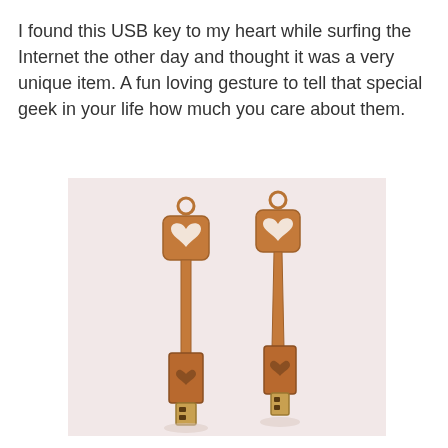I found this USB key to my heart while surfing the Internet the other day and thought it was a very unique item. A fun loving gesture to tell that special geek in your life how much you care about them.
[Figure (photo): Two copper/rose-gold USB flash drives shaped like ornate keys with heart cutouts at the top bow and heart engravings on the USB housing, photographed on a light pink background.]